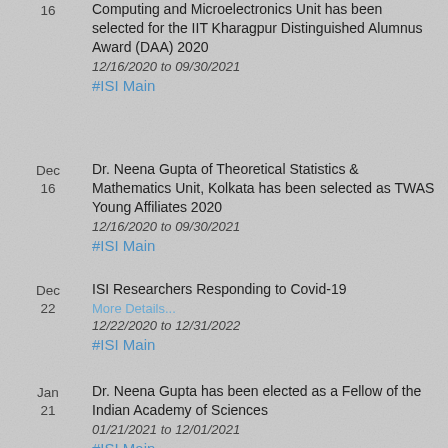Computing and Microelectronics Unit has been selected for the IIT Kharagpur Distinguished Alumnus Award (DAA) 2020
12/16/2020 to 09/30/2021
#ISI Main
Dr. Neena Gupta of Theoretical Statistics & Mathematics Unit, Kolkata has been selected as TWAS Young Affiliates 2020
12/16/2020 to 09/30/2021
#ISI Main
ISI Researchers Responding to Covid-19
More Details...
12/22/2020 to 12/31/2022
#ISI Main
Dr. Neena Gupta has been elected as a Fellow of the Indian Academy of Sciences
01/21/2021 to 12/01/2021
#ISI Main